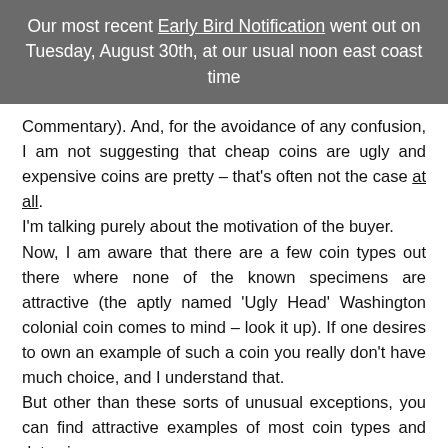Our most recent Early Bird Notification went out on Tuesday, August 30th, at our usual noon east coast time
Commentary). And, for the avoidance of any confusion, I am not suggesting that cheap coins are ugly and expensive coins are pretty – that's often not the case at all.
I'm talking purely about the motivation of the buyer.
Now, I am aware that there are a few coin types out there where none of the known specimens are attractive (the aptly named 'Ugly Head' Washington colonial coin comes to mind – look it up). If one desires to own an example of such a coin you really don't have much choice, and I understand that.
But other than these sorts of unusual exceptions, you can find attractive examples of most coin types and dates in a